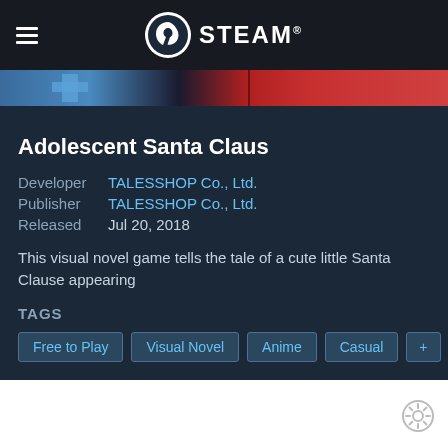STEAM®
[Figure (screenshot): Game banner strip showing partial visual novel artwork with blue and red elements]
Adolescent Santa Claus
Developer  TALESSHOP Co., Ltd.
Publisher  TALESSHOP Co., Ltd.
Released   Jul 20, 2018
This visual novel game tells the tale of a cute little Santa Clause appearing
TAGS
Free to Play
Visual Novel
Anime
Casual
+
REVIEWS
Very Positive (84% of 1,150) ALL TIME